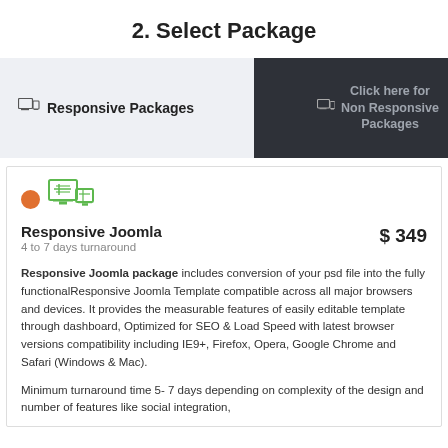2. Select Package
Responsive Packages
Click here for Non Responsive Packages
Responsive Joomla
4 to 7 days turnaround
$ 349
Responsive Joomla package includes conversion of your psd file into the fully functionalResponsive Joomla Template compatible across all major browsers and devices. It provides the measurable features of easily editable template through dashboard, Optimized for SEO & Load Speed with latest browser versions compatibility including IE9+, Firefox, Opera, Google Chrome and Safari (Windows & Mac).
Minimum turnaround time 5- 7 days depending on complexity of the design and number of features like social integration,